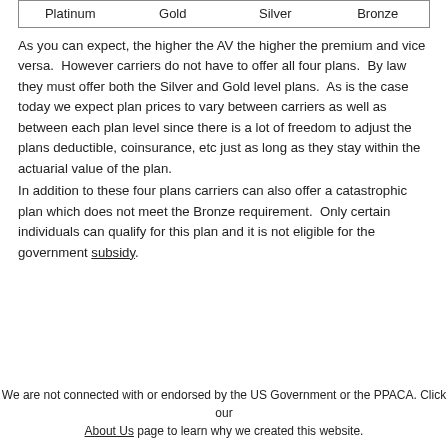| Platinum | Gold | Silver | Bronze |
| --- | --- | --- | --- |
As you can expect, the higher the AV the higher the premium and vice versa.  However carriers do not have to offer all four plans.  By law they must offer both the Silver and Gold level plans.  As is the case today we expect plan prices to vary between carriers as well as between each plan level since there is a lot of freedom to adjust the plans deductible, coinsurance, etc just as long as they stay within the actuarial value of the plan.
In addition to these four plans carriers can also offer a catastrophic plan which does not meet the Bronze requirement.  Only certain individuals can qualify for this plan and it is not eligible for the government subsidy.
We are not connected with or endorsed by the US Government or the PPACA. Click our About Us page to learn why we created this website.